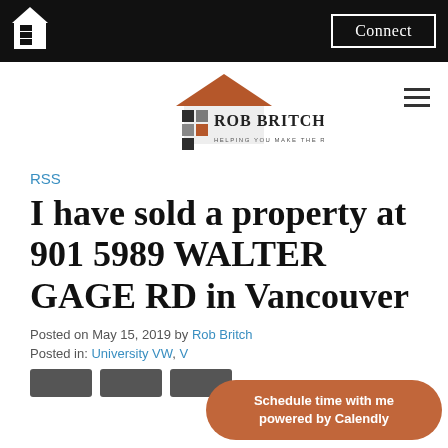Connect
[Figure (logo): Rob Britch real estate logo — house icon with colored squares, text 'ROB BRITCH HELPING YOU MAKE THE RIGHT MOVE']
RSS
I have sold a property at 901 5989 WALTER GAGE RD in Vancouver
Posted on May 15, 2019 by Rob Britch
Posted in: University VW, V...
[Figure (infographic): Calendly scheduling button: 'Schedule time with me powered by Calendly']